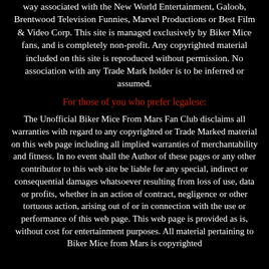way associated with the New World Entertainment, Galoob, Brentwood Television Funnies, Marvel Productions or Best Film & Video Corp. This site is managed exclusively by Biker Mice fans, and is completely non-profit. Any copyrighted material included on this site is reproduced without permission. No association with any Trade Mark holder is to be inferred or assumed.
For those of you who prefer legalese:
The Unofficial Biker Mice From Mars Fan Club disclaims all warranties with regard to any copyrighted or Trade Marked material on this web page including all implied warranties of merchantability and fitness. In no event shall the Author of these pages or any other contributor to this web site be liable for any special, indirect or consequential damages whatsoever resulting from loss of use, data or profits, whether in an action of contract, negligence or other tortuous action, arising out of or in connection with the use or performance of this web page. This web page is provided as is, without cost for entertainment purposes. All material pertaining to Biker Mice from Mars is copyrighted